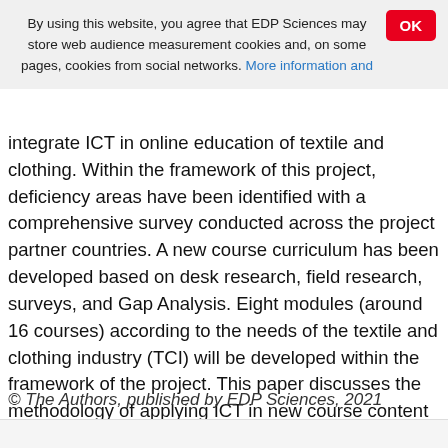By using this website, you agree that EDP Sciences may store web audience measurement cookies and, on some pages, cookies from social networks. More information and
integrate ICT in online education of textile and clothing. Within the framework of this project, deficiency areas have been identified with a comprehensive survey conducted across the project partner countries. A new course curriculum has been developed based on desk research, field research, surveys, and Gap Analysis. Eight modules (around 16 courses) according to the needs of the textile and clothing industry (TCI) will be developed within the framework of the project. This paper discusses the methodology of applying ICT in new course content for Apparel Design and Production which is a pilot course and serves as a benchmark for further development of other courses.
© The Authors, published by EDP Sciences, 2021